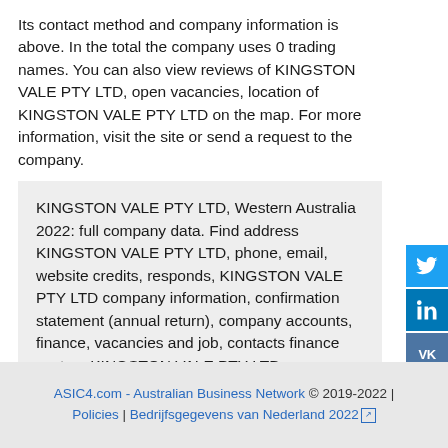Its contact method and company information is above. In the total the company uses 0 trading names. You can also view reviews of KINGSTON VALE PTY LTD, open vacancies, location of KINGSTON VALE PTY LTD on the map. For more information, visit the site or send a request to the company.
KINGSTON VALE PTY LTD, Western Australia 2022: full company data. Find address KINGSTON VALE PTY LTD, phone, email, website credits, responds, KINGSTON VALE PTY LTD company information, confirmation statement (annual return), company accounts, finance, vacancies and job, contacts finance sectors KINGSTON VALE PTY LTD
ASIC4.com - Australian Business Network © 2019-2022 | Policies | Bedrijfsgegevens van Nederland 2022